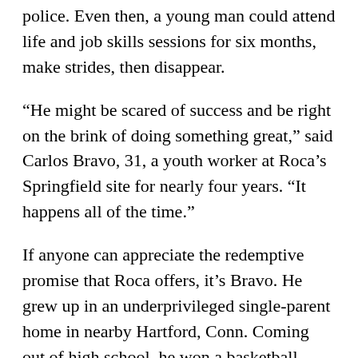police. Even then, a young man could attend life and job skills sessions for six months, make strides, then disappear.
“He might be scared of success and be right on the brink of doing something great,” said Carlos Bravo, 31, a youth worker at Roca’s Springfield site for nearly four years. “It happens all of the time.”
If anyone can appreciate the redemptive promise that Roca offers, it’s Bravo. He grew up in an underprivileged single-parent home in nearby Hartford, Conn. Coming out of high school, he won a basketball scholarship to American International College in Springfield, but made some regrettable choices when he got there — he didn’t go into the details — and wound up behind bars. Once he was ready to accept responsibility for throwing away a golden opportunity, Bravo decided to use his prison term as a chance to prepare for a new life when he